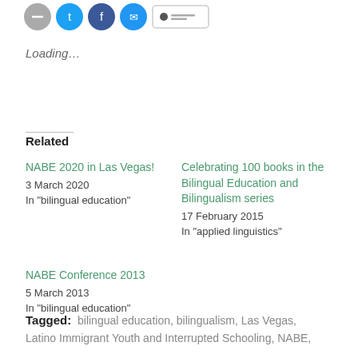[Figure (other): Social sharing icons: gray circle, Twitter blue circle, Facebook blue circle, email blue circle, and a rectangular button]
Loading…
Related
NABE 2020 in Las Vegas!
3 March 2020
In "bilingual education"
Celebrating 100 books in the Bilingual Education and Bilingualism series
17 February 2015
In "applied linguistics"
NABE Conference 2013
5 March 2013
In "bilingual education"
Tagged: bilingual education, bilingualism, Las Vegas, Latino Immigrant Youth and Interrupted Schooling, NABE,